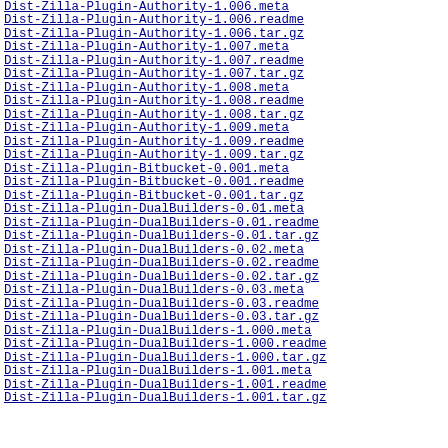Dist-Zilla-Plugin-Authority-1.006.meta  03-Jan
Dist-Zilla-Plugin-Authority-1.006.readme  03-Jan
Dist-Zilla-Plugin-Authority-1.006.tar.gz  03-Jan
Dist-Zilla-Plugin-Authority-1.007.meta  27-Oct
Dist-Zilla-Plugin-Authority-1.007.readme  27-Oct
Dist-Zilla-Plugin-Authority-1.007.tar.gz  27-Oct
Dist-Zilla-Plugin-Authority-1.008.meta  27-Oct
Dist-Zilla-Plugin-Authority-1.008.readme  27-Oct
Dist-Zilla-Plugin-Authority-1.008.tar.gz  27-Oct
Dist-Zilla-Plugin-Authority-1.009.meta  28-Oct
Dist-Zilla-Plugin-Authority-1.009.readme  28-Oct
Dist-Zilla-Plugin-Authority-1.009.tar.gz  28-Oct
Dist-Zilla-Plugin-Bitbucket-0.001.meta  04-Nov
Dist-Zilla-Plugin-Bitbucket-0.001.readme  04-Nov
Dist-Zilla-Plugin-Bitbucket-0.001.tar.gz  04-Nov
Dist-Zilla-Plugin-DualBuilders-0.01.meta  30-Apr
Dist-Zilla-Plugin-DualBuilders-0.01.readme  30-Apr
Dist-Zilla-Plugin-DualBuilders-0.01.tar.gz  30-Apr
Dist-Zilla-Plugin-DualBuilders-0.02.meta  01-May
Dist-Zilla-Plugin-DualBuilders-0.02.readme  01-May
Dist-Zilla-Plugin-DualBuilders-0.02.tar.gz  01-May
Dist-Zilla-Plugin-DualBuilders-0.03.meta  29-May
Dist-Zilla-Plugin-DualBuilders-0.03.readme  29-May
Dist-Zilla-Plugin-DualBuilders-0.03.tar.gz  29-May
Dist-Zilla-Plugin-DualBuilders-1.000.meta  14-Dec
Dist-Zilla-Plugin-DualBuilders-1.000.readme  14-Dec
Dist-Zilla-Plugin-DualBuilders-1.000.tar.gz  14-Dec
Dist-Zilla-Plugin-DualBuilders-1.001.meta  15-Dec
Dist-Zilla-Plugin-DualBuilders-1.001.readme  15-Dec
Dist-Zilla-Plugin-DualBuilders-1.001.tar.gz  15-Dec